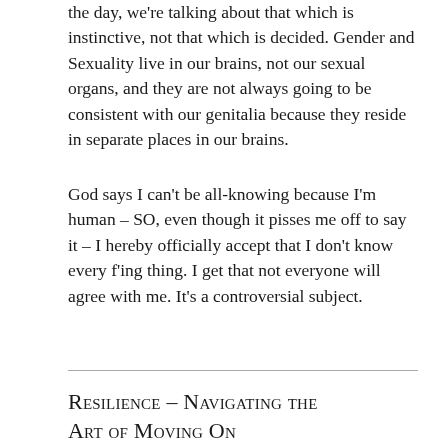the day, we're talking about that which is instinctive, not that which is decided. Gender and Sexuality live in our brains, not our sexual organs, and they are not always going to be consistent with our genitalia because they reside in separate places in our brains.
God says I can't be all-knowing because I'm human – SO, even though it pisses me off to say it – I hereby officially accept that I don't know every f'ing thing. I get that not everyone will agree with me. It's a controversial subject.
Resilience – Navigating the Art of Moving On